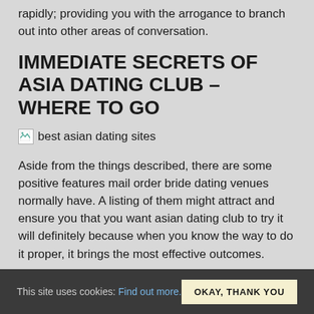rapidly; providing you with the arrogance to branch out into other areas of conversation.
IMMEDIATE SECRETS OF ASIA DATING CLUB – WHERE TO GO
[Figure (photo): Broken image placeholder with alt text 'best asian dating sites']
Aside from the things described, there are some positive features mail order bride dating venues normally have. A listing of them might attract and ensure you that you want asian dating club to try it will definitely because when you know the way to do it proper, it brings the most effective outcomes.
is likely to be good advice should you did one thing wrong but in my
This site uses cookies: Find out more.   OKAY, THANK YOU